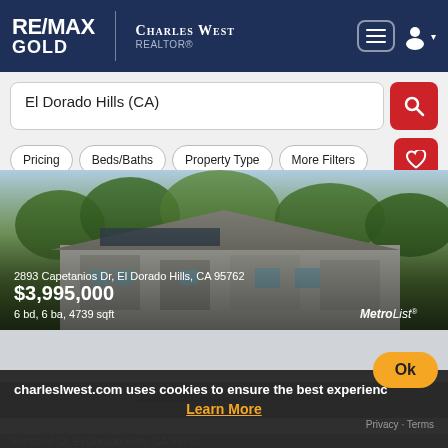[Figure (screenshot): RE/MAX Gold header with Charles West Realtor branding, navigation icons]
El Dorado Hills (CA)
Pricing | Beds/Baths | Property Type | More Filters
[Figure (photo): Aerial photo of luxury home at 2893 Capetanios Dr, El Dorado Hills, CA 95762]
2893 Capetanios Dr, El Dorado Hills, CA 95762
$3,995,000
6 bd, 6 ba, 4739 sqft
MetroList®
FOR SALE
charleslwest.com uses cookies to ensure the best experience
Ok
Learn More
Privacy · Terms
Shetland Ct, El Dorado Hills, CA 95762